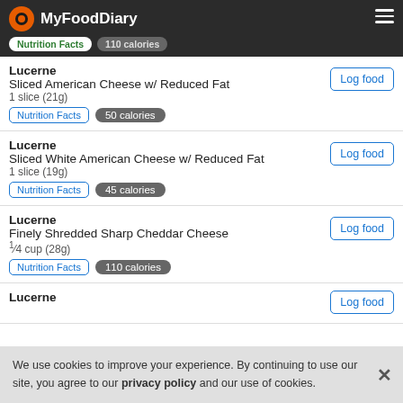MyFoodDiary
Lucerne
Sliced American Cheese w/ Reduced Fat
1 slice (21g)
Nutrition Facts | 50 calories
Lucerne
Sliced White American Cheese w/ Reduced Fat
1 slice (19g)
Nutrition Facts | 45 calories
Lucerne
Finely Shredded Sharp Cheddar Cheese
1/4 cup (28g)
Nutrition Facts | 110 calories
Lucerne
We use cookies to improve your experience. By continuing to use our site, you agree to our privacy policy and our use of cookies.